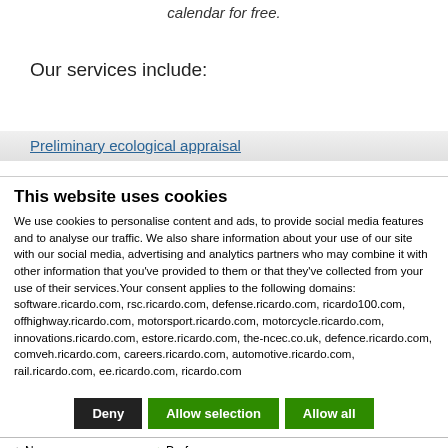calendar for free.
Our services include:
Preliminary ecological appraisal
This website uses cookies
We use cookies to personalise content and ads, to provide social media features and to analyse our traffic. We also share information about your use of our site with our social media, advertising and analytics partners who may combine it with other information that you've provided to them or that they've collected from your use of their services.Your consent applies to the following domains: software.ricardo.com, rsc.ricardo.com, defense.ricardo.com, ricardo100.com, offhighway.ricardo.com, motorsport.ricardo.com, motorcycle.ricardo.com, innovations.ricardo.com, estore.ricardo.com, the-ncec.co.uk, defence.ricardo.com, comveh.ricardo.com, careers.ricardo.com, automotive.ricardo.com, rail.ricardo.com, ee.ricardo.com, ricardo.com
Deny | Allow selection | Allow all
Necessary  Preferences  Statistics  Marketing  Show details